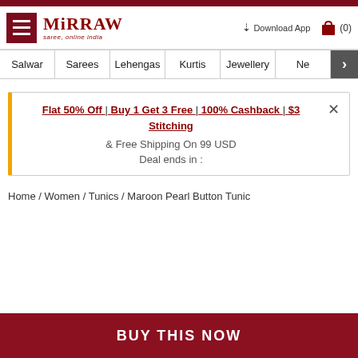Mirraw - saree, online india
Download App (0)
Salwar | Sarees | Lehengas | Kurtis | Jewellery | Ne >
Flat 50% Off | Buy 1 Get 3 Free | 100% Cashback | $3 Stitching & Free Shipping On 99 USD
Deal ends in :
Home / Women / Tunics / Maroon Pearl Button Tunic
BUY THIS NOW